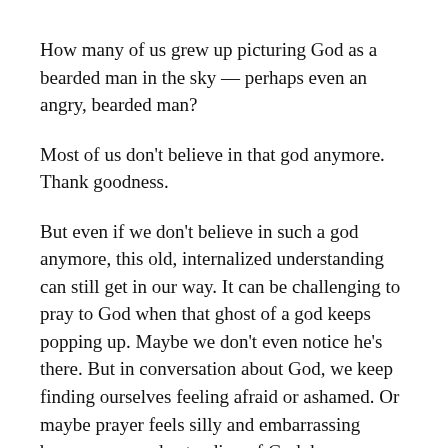How many of us grew up picturing God as a bearded man in the sky — perhaps even an angry, bearded man?
Most of us don't believe in that god anymore. Thank goodness.
But even if we don't believe in such a god anymore, this old, internalized understanding can still get in our way. It can be challenging to pray to God when that ghost of a god keeps popping up. Maybe we don't even notice he's there. But in conversation about God, we keep finding ourselves feeling afraid or ashamed. Or maybe prayer feels silly and embarrassing because our understanding of God, however amorphous, still feels like a cartoon or a caricature.
This can be challenging. For all of these reasons, I often encourage the people I mentor to try using feminine